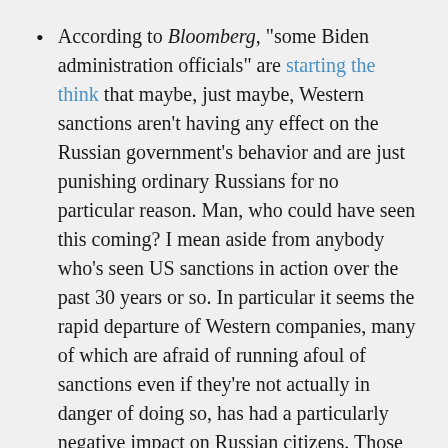According to Bloomberg, "some Biden administration officials" are starting the think that maybe, just maybe, Western sanctions aren't having any effect on the Russian government's behavior and are just punishing ordinary Russians for no particular reason. Man, who could have seen this coming? I mean aside from anybody who's seen US sanctions in action over the past 30 years or so. In particular it seems the rapid departure of Western companies, many of which are afraid of running afoul of sanctions even if they're not actually in danger of doing so, has had a particularly negative impact on Russian citizens. Those departures have also had detrimental effects on international supply change, creating negative